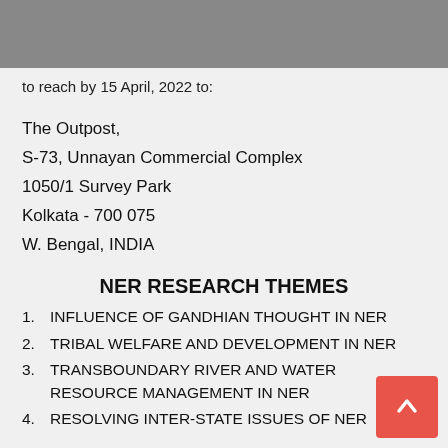to reach by 15 April, 2022 to:
The Outpost,
S-73, Unnayan Commercial Complex
1050/1 Survey Park
Kolkata - 700 075
W. Bengal, INDIA
NER RESEARCH THEMES
INFLUENCE OF GANDHIAN THOUGHT IN NER
TRIBAL WELFARE AND DEVELOPMENT IN NER
TRANSBOUNDARY RIVER AND WATER RESOURCE MANAGEMENT IN NER
RESOLVING INTER-STATE ISSUES OF NER